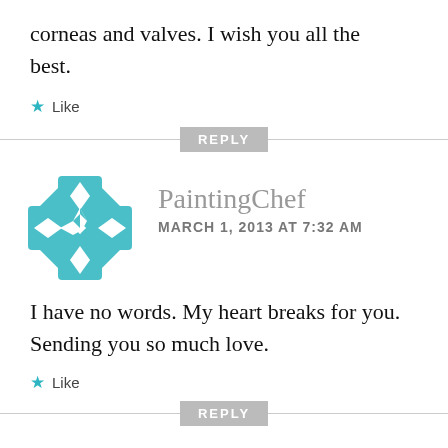corneas and valves. I wish you all the best.
★ Like
REPLY
[Figure (logo): PaintingChef teal decorative cross/star geometric logo avatar]
PaintingChef
MARCH 1, 2013 AT 7:32 AM
I have no words. My heart breaks for you. Sending you so much love.
★ Like
REPLY